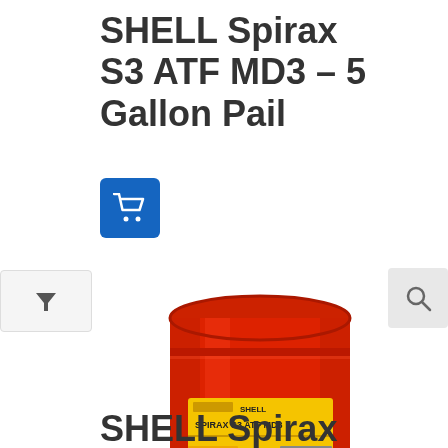SHELL Spirax S3 ATF MD3 – 5 Gallon Pail
[Figure (screenshot): Blue shopping cart button icon]
[Figure (screenshot): Gray filter funnel icon button on left edge]
[Figure (photo): Red industrial oil drum/barrel with yellow Shell Spirax S3 ATF MD3 label, with magnifying glass zoom icon in top right corner]
SHELL Spirax